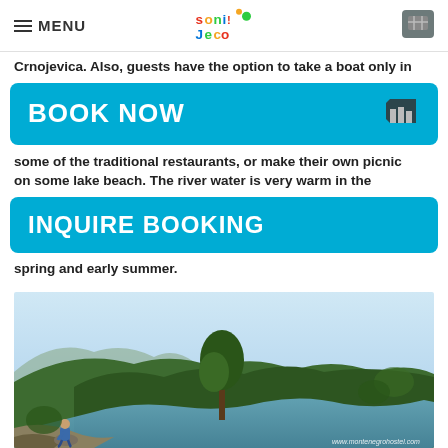MENU | [logo] | [cart icon]
Crnojevica. Also, guests have the option to take a boat only in
BOOK NOW
some of the traditional restaurants, or make their own picnic on some lake beach. The river water is very warm in the
INQUIRE BOOKING
spring and early summer.
[Figure (photo): Scenic view from a rocky overlook of a winding river through forested mountains in Montenegro, with a person sitting on the rocks in the foreground. Watermark: www.montenegrohostel.com]